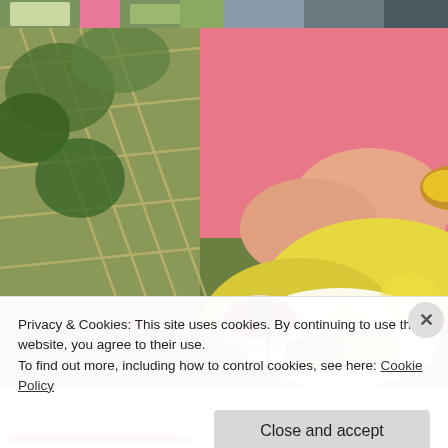[Figure (photo): Two small thumbnail photos at the top: left shows garden/plants with pink flowers, right shows a darker outdoor scene.]
[Figure (photo): Main large photo of a person in a pink top and yellow cloth on lap, sitting outdoors at a table with a plate of grilled vegetables and a bowl of salad with tomatoes and greens, surrounded by a lattice fence with greenery.]
Privacy & Cookies: This site uses cookies. By continuing to use this website, you agree to their use.
To find out more, including how to control cookies, see here: Cookie Policy
Close and accept